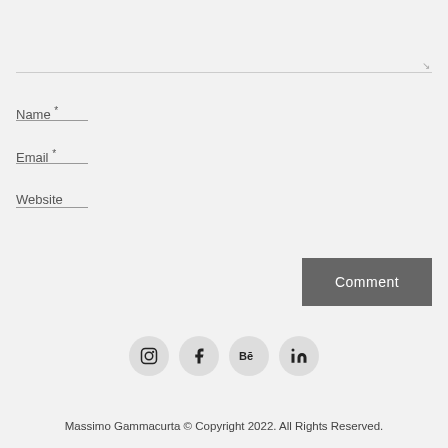[Figure (screenshot): Comment form with textarea, Name, Email, Website fields with underlines, a Comment button, and social media icons (Instagram, Facebook, Behance, LinkedIn)]
Name *
Email *
Website
Comment
[Figure (other): Social media icon circles: Instagram, Facebook, Behance, LinkedIn]
Massimo Gammacurta © Copyright 2022. All Rights Reserved.